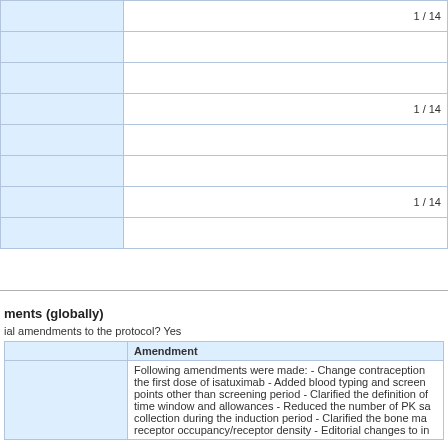|  |  |
| --- | --- |
|  | 1 / 14 |
|  |  |
|  |  |
|  | 1 / 14 |
|  |  |
|  |  |
|  | 1 / 14 |
|  |  |
ments (globally)
ial amendments to the protocol? Yes
|  | Amendment |
| --- | --- |
|  | Following amendments were made: - Change contraception the first dose of isatuximab - Added blood typing and screen points other than screening period - Clarified the definition of time window and allowances - Reduced the number of PK sa collection during the induction period - Clarified the bone ma receptor occupancy/receptor density - Editorial changes to in |